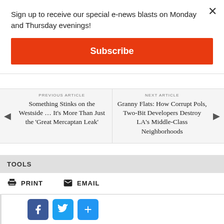Sign up to receive our special e-news blasts on Monday and Thursday evenings!
Subscribe
PREVIOUS ARTICLE
Something Stinks on the Westside … It's More Than Just the 'Great Mercaptan Leak'
NEXT ARTICLE
Granny Flats: How Corrupt Pols, Two-Bit Developers Destroy LA's Middle-Class Neighborhoods
TOOLS
PRINT
EMAIL
PREVEN REPORT--The LA City Ethics Commission is auditing the campaign ...